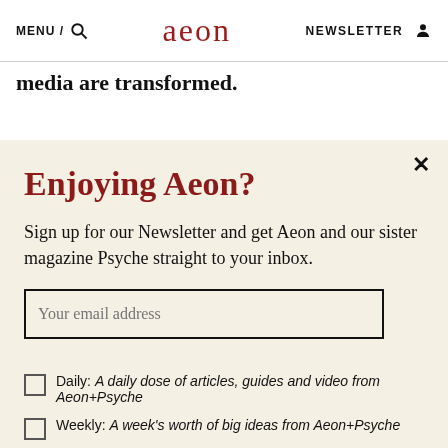MENU / [search] aeon NEWSLETTER [user icon]
media are transformed.
Enjoying Aeon?
Sign up for our Newsletter and get Aeon and our sister magazine Psyche straight to your inbox.
Your email address
Daily: A daily dose of articles, guides and video from Aeon+Psyche
Weekly: A week's worth of big ideas from Aeon+Psyche
Sign up now
I'm already subscribed
Privacy policy